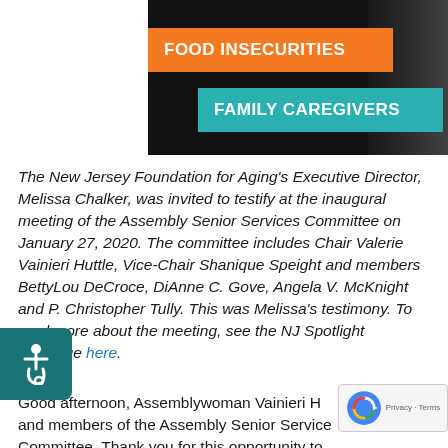[Figure (photo): Dark background banner image with two overlapping colored text bars: an orange bar reading 'FOOD INSECURITIES' and a teal bar reading 'FAMILY CAREGIVERS', with a silhouette figure on the right]
The New Jersey Foundation for Aging's Executive Director, Melissa Chalker, was invited to testify at the inaugural meeting of the Assembly Senior Services Committee on January 27, 2020. The committee includes Chair Valerie Vainieri Huttle, Vice-Chair Shanique Speight and members BettyLou DeCroce, DiAnne C. Gove, Angela V. McKnight and P. Christopher Tully. This was Melissa's testimony. To read more about the meeting, see the NJ Spotlight coverage here.
Good afternoon, Assemblywoman Vainieri H[uttle] and members of the Assembly Senior Service[s] Committee. Thank you for this opportunity to [testify]